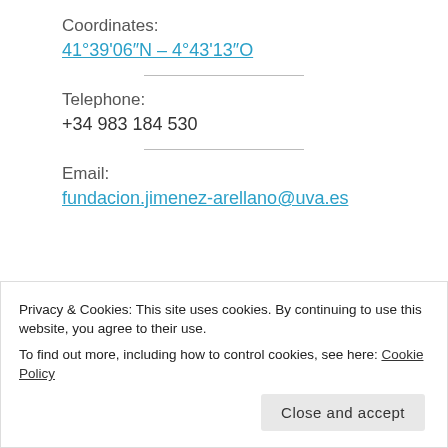Coordinates:
41°39'06″N – 4°43'13″O
Telephone:
+34 983 184 530
Email:
fundacion.jimenez-arellano@uva.es
Privacy & Cookies: This site uses cookies. By continuing to use this website, you agree to their use.
To find out more, including how to control cookies, see here: Cookie Policy
Close and accept